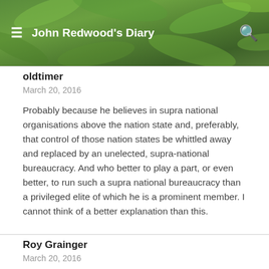John Redwood's Diary
oldtimer
March 20, 2016
Probably because he believes in supra national organisations above the nation state and, preferably, that control of those nation states be whittled away and replaced by an unelected, supra-national bureaucracy. And who better to play a part, or even better, to run such a supra national bureaucracy than a privileged elite of which he is a prominent member. I cannot think of a better explanation than this.
Roy Grainger
March 20, 2016